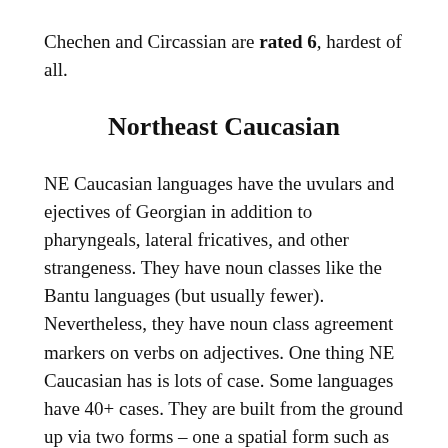Chechen and Circassian are rated 6, hardest of all.
Northeast Caucasian
NE Caucasian languages have the uvulars and ejectives of Georgian in addition to pharyngeals, lateral fricatives, and other strangeness. They have noun classes like the Bantu languages (but usually fewer). Nevertheless, they have noun class agreement markers on verbs on adjectives. One thing NE Caucasian has is lots of case. Some languages have 40+ cases. They are built from the ground up via two forms – one a spatial form such as